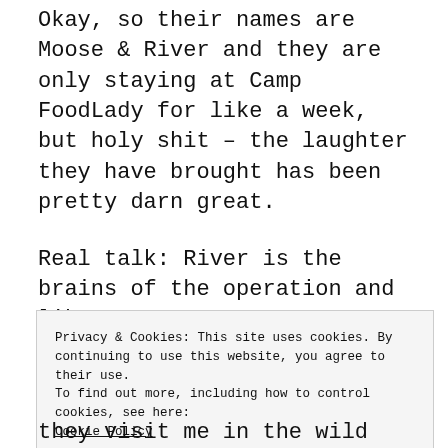Okay, so their names are Moose & River and they are only staying at Camp FoodLady for like a week, but holy shit – the laughter they have brought has been pretty darn great.
Real talk: River is the brains of the operation and like any smart person I know, anxiety is REAL with her. In her daily life, she is used to being HBIC and uses Moose as her personal bodyguard. So, Camp FoodLady has been a surprising challenge to her reality – but I
Privacy & Cookies: This site uses cookies. By continuing to use this website, you agree to their use.
To find out more, including how to control cookies, see here: Cookie Policy
Close and accept
they visit me in the wild while being a